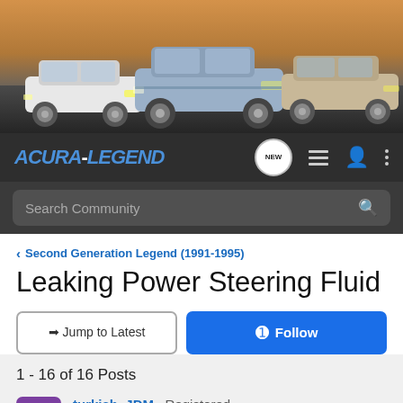[Figure (photo): Header banner image showing three Acura Legend cars posed on a dark rocky surface with a warm sunset sky background]
ACURA-LEGEND navigation bar with logo, NEW badge, list icon, user icon, and more options icon
Search Community
< Second Generation Legend (1991-1995)
Leaking Power Steering Fluid
→ Jump to Latest
+ Follow
1 - 16 of 16 Posts
turkish_JDM · Registered
Joined Mar 6, 2007 · 16 Posts